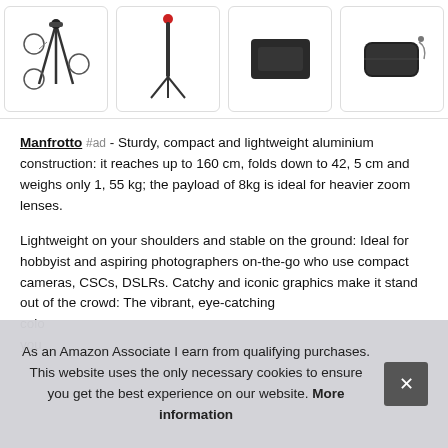[Figure (photo): Four product images in a row: a camera tripod with detail callouts, a slim tripod (tall), a quick-release plate, and a padded roll/carry case]
Manfrotto #ad - Sturdy, compact and lightweight aluminium construction: it reaches up to 160 cm, folds down to 42, 5 cm and weighs only 1, 55 kg; the payload of 8kg is ideal for heavier zoom lenses.
Lightweight on your shoulders and stable on the ground: Ideal for hobbyist and aspiring photographers on-the-go who use compact cameras, CSCs, DSLRs. Catchy and iconic graphics make it stand out of the crowd: The vibrant, eye-catching colo... you...
As an Amazon Associate I earn from qualifying purchases. This website uses the only necessary cookies to ensure you get the best experience on our website. More information